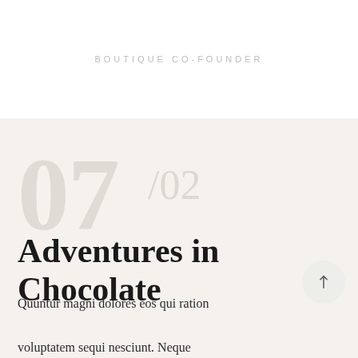BOUTIQUE CO-FOUNDER
Adventures in Chocolate
Quuntur magni dolores eos qui ratione voluptatem sequi nesciunt. Neque